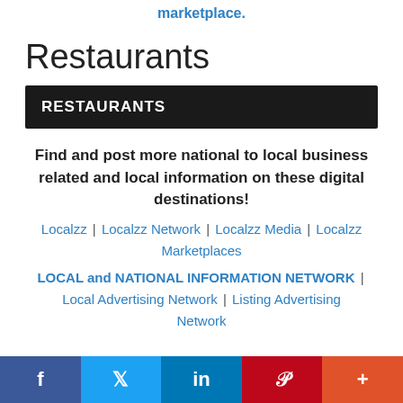marketplace.
Restaurants
RESTAURANTS
Find and post more national to local business related and local information on these digital destinations!
Localzz | Localzz Network | Localzz Media | Localzz Marketplaces
LOCAL and NATIONAL INFORMATION NETWORK | Local Advertising Network | Listing Advertising Network
f | Twitter | in | Pinterest | +